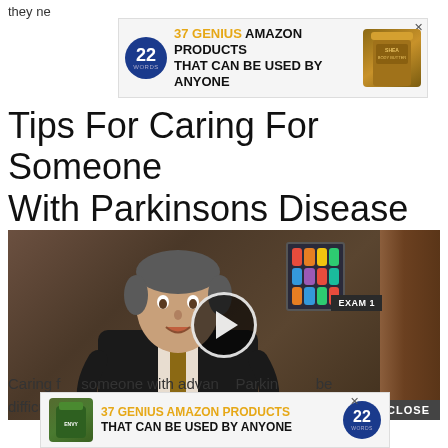they ne
[Figure (screenshot): Advertisement banner: '37 Genius Amazon Products That Can Be Used By Anyone' with 22 Words logo badge and product image. Close X button.]
Tips For Caring For Someone With Parkinsons Disease
[Figure (screenshot): Video thumbnail showing a male doctor in a suit and tie speaking in an exam room, with a play button overlay. EXAM 1 sign visible. CLOSE button at bottom right.]
Caring f     someone with advanced Parkinson's can     be difficul                                                           dition,
[Figure (screenshot): Advertisement banner at bottom: '37 Genius Amazon Products That Can Be Used By Anyone' with product bottle image, 22 Words badge, and close X button.]